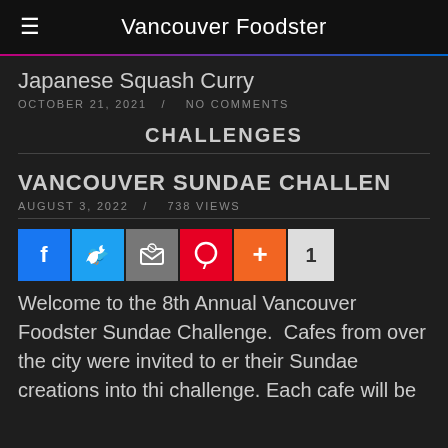Vancouver Foodster
Japanese Squash Curry
OCTOBER 21, 2021 / NO COMMENTS
CHALLENGES
VANCOUVER SUNDAE CHALLEN
AUGUST 3, 2022 / 738 VIEWS
[Figure (infographic): Social share buttons: Facebook, Twitter, Email, Pinterest, Plus, count badge showing 1]
Welcome to the 8th Annual Vancouver Foodster Sundae Challenge.  Cafes from over the city were invited to er their Sundae creations into thi challenge. Each cafe will be